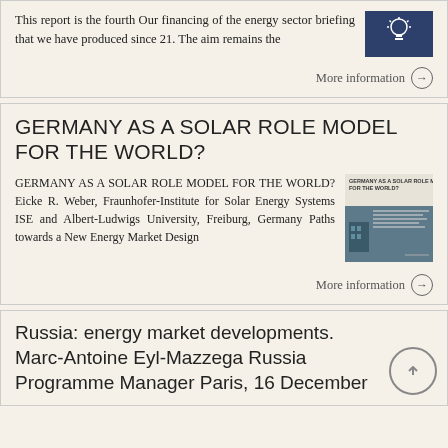This report is the fourth Our financing of the energy sector briefing that we have produced since 21. The aim remains the
More information →
GERMANY AS A SOLAR ROLE MODEL FOR THE WORLD?
GERMANY AS A SOLAR ROLE MODEL FOR THE WORLD? Eicke R. Weber, Fraunhofer-Institute for Solar Energy Systems ISE and Albert-Ludwigs University, Freiburg, Germany Paths towards a New Energy Market Design
More information →
Russia: energy market developments. Marc-Antoine Eyl-Mazzega Russia Programme Manager Paris, 16 December